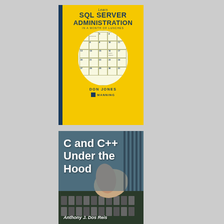[Figure (photo): Book cover: 'Learn SQL Server Administration In a Month of Lunches' by Don Jones, Manning publication. Yellow cover with calendar illustration and dark blue spine.]
[Figure (photo): Book cover: 'C and C++ Under the Hood' by Anthony J. Dos Reis. Photo of hands working with mechanical/electronic components on a dark background.]